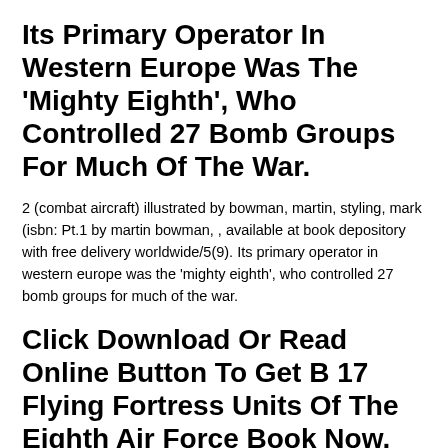Its Primary Operator In Western Europe Was The 'Mighty Eighth', Who Controlled 27 Bomb Groups For Much Of The War.
2 (combat aircraft) illustrated by bowman, martin, styling, mark (isbn: Pt.1 by martin bowman, , available at book depository with free delivery worldwide/5(9). Its primary operator in western europe was the 'mighty eighth', who controlled 27 bomb groups for much of the war.
Click Download Or Read Online Button To Get B 17 Flying Fortress Units Of The Eighth Air Force Book Now.
Its primary operator in western europe was the 'mighty eighth', who controlled 27 bomb groups for much of the war. The primary operator of the flying fortress in western europe was the 'mighty